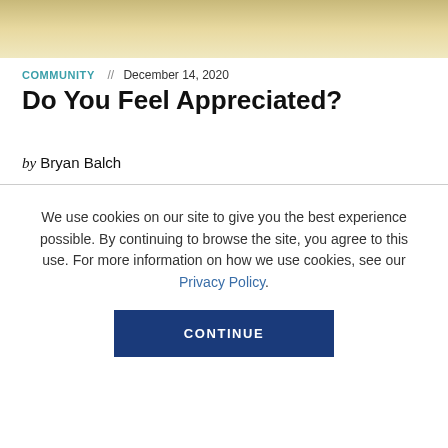[Figure (photo): Hero image with warm tan/gold gradient background]
COMMUNITY // December 14, 2020
Do You Feel Appreciated?
by Bryan Balch
We use cookies on our site to give you the best experience possible. By continuing to browse the site, you agree to this use. For more information on how we use cookies, see our Privacy Policy.
CONTINUE